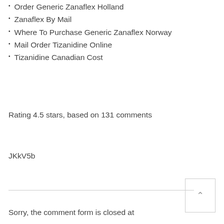Order Generic Zanaflex Holland
Zanaflex By Mail
Where To Purchase Generic Zanaflex Norway
Mail Order Tizanidine Online
Tizanidine Canadian Cost
Rating 4.5 stars, based on 131 comments
JKkV5b
Sorry, the comment form is closed at